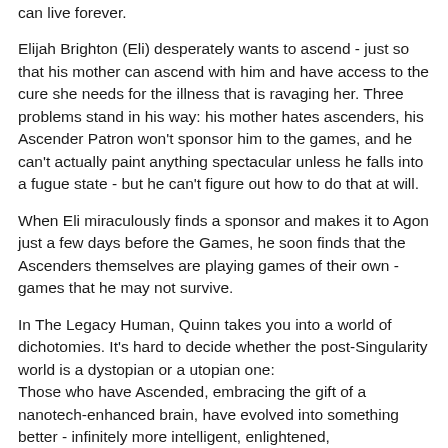can live forever.
Elijah Brighton (Eli) desperately wants to ascend - just so that his mother can ascend with him and have access to the cure she needs for the illness that is ravaging her. Three problems stand in his way: his mother hates ascenders, his Ascender Patron won't sponsor him to the games, and he can't actually paint anything spectacular unless he falls into a fugue state - but he can't figure out how to do that at will.
When Eli miraculously finds a sponsor and makes it to Agon just a few days before the Games, he soon finds that the Ascenders themselves are playing games of their own - games that he may not survive.
In The Legacy Human, Quinn takes you into a world of dichotomies. It's hard to decide whether the post-Singularity world is a dystopian or a utopian one:
Those who have Ascended, embracing the gift of a nanotech-enhanced brain, have evolved into something better - infinitely more intelligent, enlightened, compassionate, empathetic, beautiful - just perfect in every